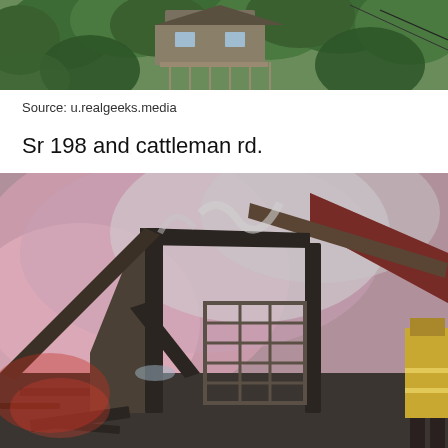[Figure (photo): Aerial or elevated view of a house with brown/grey siding and a deck, surrounded by dense green trees on a hillside.]
Source: u.realgeeks.media
Sr 198 and cattleman rd.
[Figure (photo): Fire scene showing a collapsed/burned structure with twisted metal beams and roof panels, smoke and pink haze in the background, a firefighter visible at the right edge in yellow gear.]